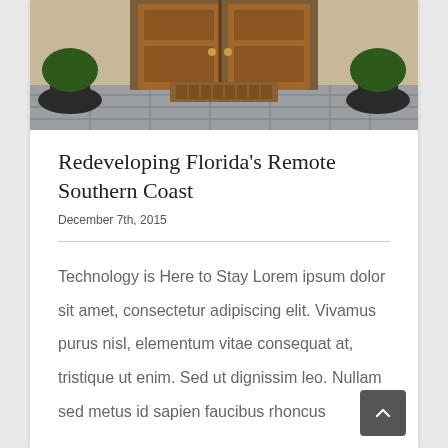[Figure (photo): Exterior photo of a wooden front door with stone tile flooring and a welcome mat, with potted plants on either side]
Redeveloping Florida's Remote Southern Coast
December 7th, 2015
Technology is Here to Stay Lorem ipsum dolor sit amet, consectetur adipiscing elit. Vivamus purus nisl, elementum vitae consequat at, tristique ut enim. Sed ut dignissim leo. Nullam sed metus id sapien faucibus rhoncus